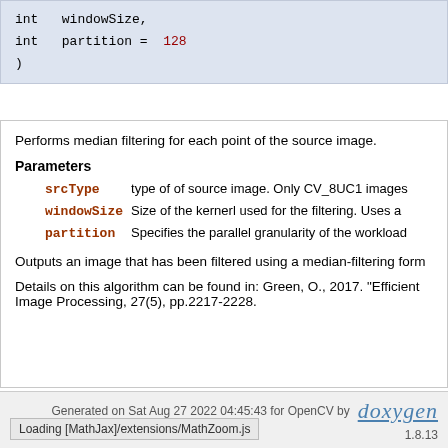int  windowSize,
int  partition =  128
)
Performs median filtering for each point of the source image.
Parameters
srcType   type of of source image. Only CV_8UC1 images
windowSize  Size of the kernerl used for the filtering. Uses a
partition   Specifies the parallel granularity of the workload
Outputs an image that has been filtered using a median-filtering form
Details on this algorithm can be found in: Green, O., 2017. "Efficient Image Processing, 27(5), pp.2217-2228.
Generated on Sat Aug 27 2022 04:45:43 for OpenCV by doxygen 1.8.13
Loading [MathJax]/extensions/MathZoom.js